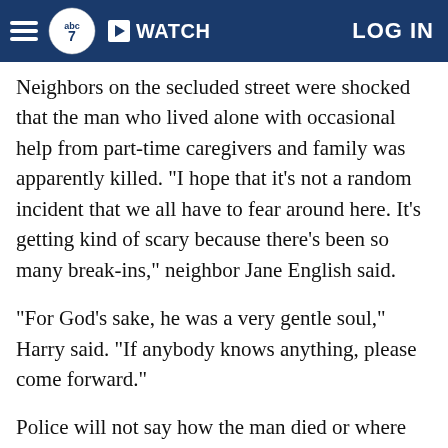ABC7 | WATCH | LOG IN
Neighbors on the secluded street were shocked that the man who lived alone with occasional help from part-time caregivers and family was apparently killed. "I hope that it's not a random incident that we all have to fear around here. It's getting kind of scary because there's been so many break-ins," neighbor Jane English said.
"For God's sake, he was a very gentle soul," Harry said. "If anybody knows anything, please come forward."
Police will not say how the man died or where his body was found inside the home. His body was taken away by the coroner around 2 p.m. Thursday.
Copyright © 2022 KGO-TV. All Rights Reserved.